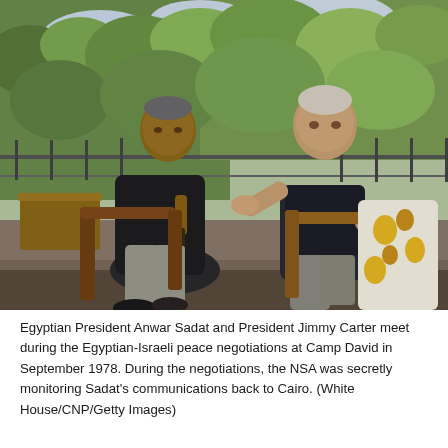[Figure (photo): Egyptian President Anwar Sadat and President Jimmy Carter sitting outdoors on a terrace with wooden chairs, engaged in conversation, with lush green foliage in the background. Sadat is dressed in black and Carter in a dark polo shirt with a floral-cushioned chair. The setting is Camp David, September 1978.]
Egyptian President Anwar Sadat and President Jimmy Carter meet during the Egyptian-Israeli peace negotiations at Camp David in September 1978. During the negotiations, the NSA was secretly monitoring Sadat's communications back to Cairo. (White House/CNP/Getty Images)